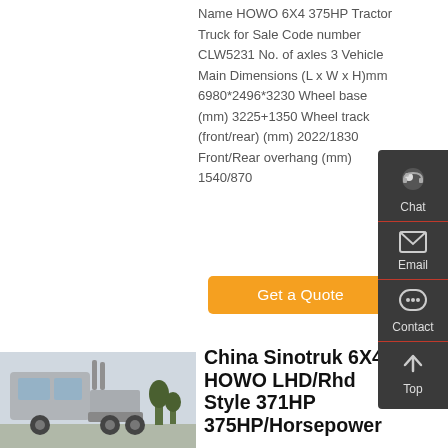Name HOWO 6X4 375HP Tractor Truck for Sale Code number CLW5231 No. of axles 3 Vehicle Main Dimensions (L x W x H)mm 6980*2496*3230 Wheel base (mm) 3225+1350 Wheel track (front/rear) (mm) 2022/1830 Front/Rear overhang (mm) 1540/870
[Figure (other): Orange Get a Quote button]
[Figure (photo): Silver HOWO tractor truck parked outdoors, side/front view]
China Sinotruk 6X4 HOWO LHD/Rhd Style 371HP 375HP/Horsepower